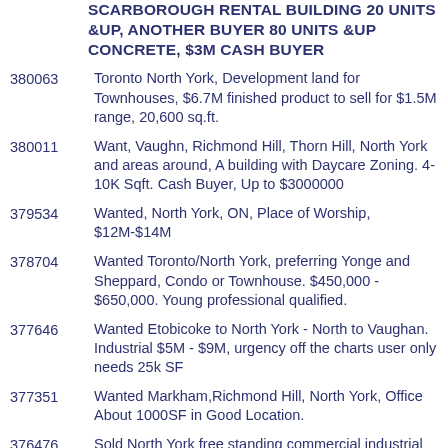SCARBOROUGH RENTAL BUILDING 20 UNITS &UP, ANOTHER BUYER 80 UNITS &UP CONCRETE, $3M CASH BUYER
380063 Toronto North York, Development land for Townhouses, $6.7M finished product to sell for $1.5M range, 20,600 sq.ft.
380011 Want, Vaughn, Richmond Hill, Thorn Hill, North York and areas around, A building with Daycare Zoning. 4-10K Sqft. Cash Buyer, Up to $3000000
379534 Wanted, North York, ON, Place of Worship, $12M-$14M
378704 Wanted Toronto/North York, preferring Yonge and Sheppard, Condo or Townhouse. $450,000 - $650,000. Young professional qualified.
377646 Wanted Etobicoke to North York - North to Vaughan. Industrial $5M - $9M, urgency off the charts user only needs 25k SF
377351 Wanted Markham,Richmond Hill, North York, Office About 1000SF in Good Location.
376476 Sold North York free standing commercial industrial $1.7M 12800 sq ft great for clothing jewellery manufacturing printing warehousing